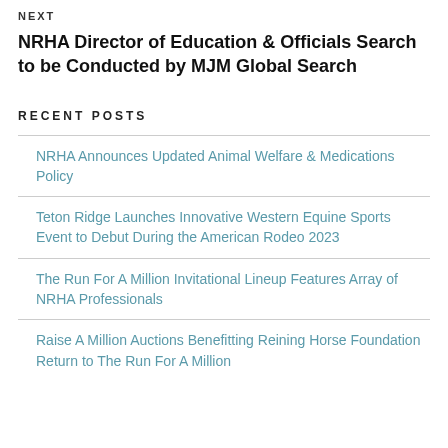NEXT
NRHA Director of Education & Officials Search to be Conducted by MJM Global Search
RECENT POSTS
NRHA Announces Updated Animal Welfare & Medications Policy
Teton Ridge Launches Innovative Western Equine Sports Event to Debut During the American Rodeo 2023
The Run For A Million Invitational Lineup Features Array of NRHA Professionals
Raise A Million Auctions Benefitting Reining Horse Foundation Return to The Run For A Million